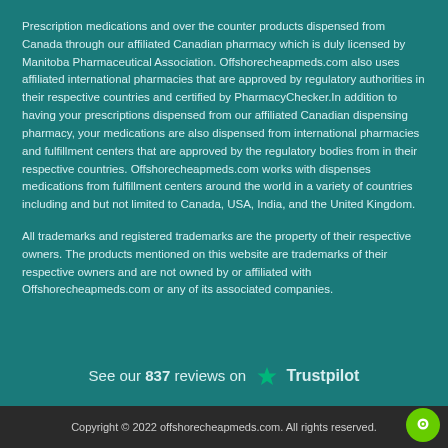Prescription medications and over the counter products dispensed from Canada through our affiliated Canadian pharmacy which is duly licensed by Manitoba Pharmaceutical Association. Offshorecheapmeds.com also uses affiliated international pharmacies that are approved by regulatory authorities in their respective countries and certified by PharmacyChecker.In addition to having your prescriptions dispensed from our affiliated Canadian dispensing pharmacy, your medications are also dispensed from international pharmacies and fulfillment centers that are approved by the regulatory bodies from in their respective countries. Offshorecheapmeds.com works with dispenses medications from fulfillment centers around the world in a variety of countries including and but not limited to Canada, USA, India, and the United Kingdom.
All trademarks and registered trademarks are the property of their respective owners. The products mentioned on this website are trademarks of their respective owners and are not owned by or affiliated with Offshorecheapmeds.com or any of its associated companies.
See our 837 reviews on ★ Trustpilot
Copyright © 2022 offshorecheapmeds.com. All rights reserved.